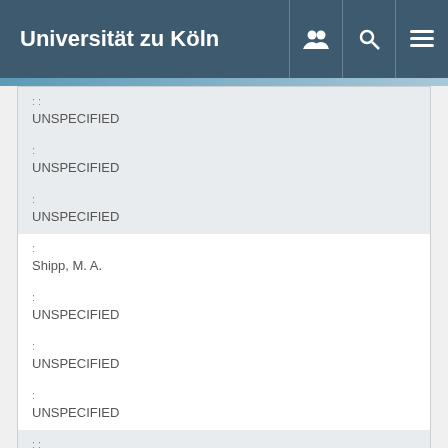Universität zu Köln
| : | value |
| --- | --- |
| : | UNSPECIFIED |
| : | UNSPECIFIED |
| : | UNSPECIFIED |
| : | Shipp, M. A. |
| : | UNSPECIFIED |
| : | UNSPECIFIED |
| : | UNSPECIFIED |
| : |  |